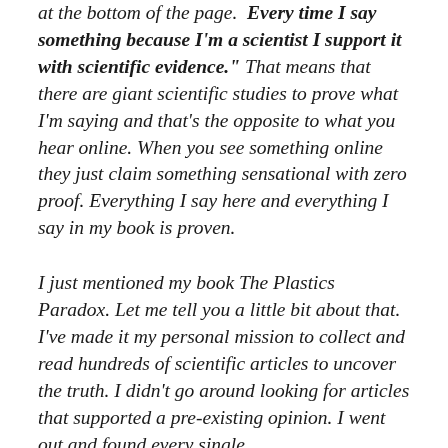at the bottom of the page. "Every time I say something because I'm a scientist I support it with scientific evidence." That means that there are giant scientific studies to prove what I'm saying and that's the opposite to what you hear online. When you see something online they just claim something sensational with zero proof. Everything I say here and everything I say in my book is proven.
I just mentioned my book The Plastics Paradox. Let me tell you a little bit about that. I've made it my personal mission to collect and read hundreds of scientific articles to uncover the truth. I didn't go around looking for articles that supported a pre-existing opinion. I went out and found every single